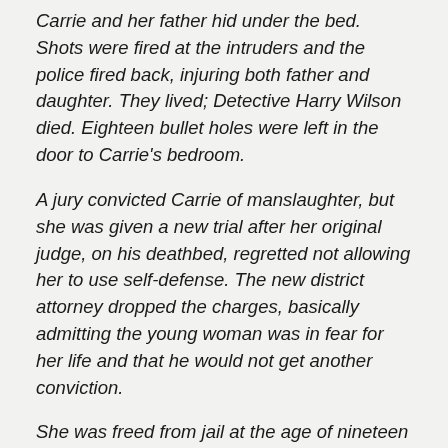Carrie and her father hid under the bed. Shots were fired at the intruders and the police fired back, injuring both father and daughter. They lived; Detective Harry Wilson died. Eighteen bullet holes were left in the door to Carrie's bedroom.
A jury convicted Carrie of manslaughter, but she was given a new trial after her original judge, on his deathbed, regretted not allowing her to use self-defense. The new district attorney dropped the charges, basically admitting the young woman was in fear for her life and that he would not get another conviction.
She was freed from jail at the age of nineteen and then disappears from history. Six years after Red Summer, in August of 1925, the Ku Klux Klan